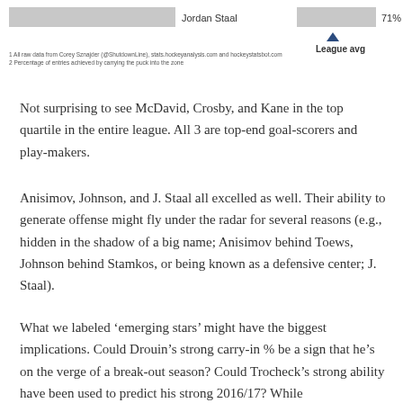[Figure (bar-chart): Partial bar chart showing Jordan Staal at 71% with league average marker]
1 All raw data from Corey Sznajder (@ShutdownLine), stats.hockeyanalysis.com and hockeystatsbot.com
2 Percentage of entries achieved by carrying the puck into the zone
Not surprising to see McDavid, Crosby, and Kane in the top quartile in the entire league. All 3 are top-end goal-scorers and play-makers.
Anisimov, Johnson, and J. Staal all excelled as well. Their ability to generate offense might fly under the radar for several reasons (e.g., hidden in the shadow of a big name; Anisimov behind Toews, Johnson behind Stamkos, or being known as a defensive center; J. Staal).
What we labeled ‘emerging stars’ might have the biggest implications. Could Drouin’s strong carry-in % be a sign that he’s on the verge of a break-out season? Could Trocheck’s strong ability have been used to predict his strong 2016/17? While